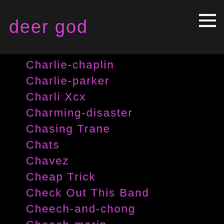deer god
Charlie-chaplin
Charlie-parker
Charli Xcx
Charming-disaster
Chasing Trane
Chats
Chavez
Cheap Trick
Check Out This Band
Cheech-and-chong
Cheech-marin
Chelsea Wolfe
Chess Records
Chester Bennington
Chet Baker
Chiaki-kuriyama
Chi Ali